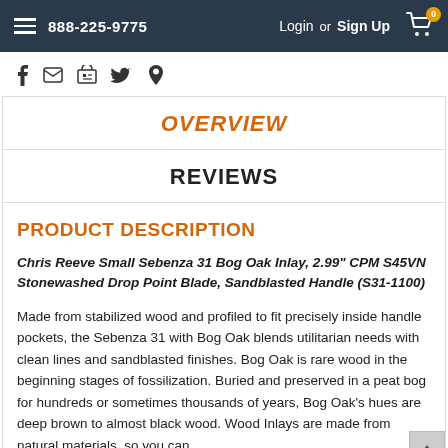888-225-9775  Login or Sign Up  [cart: 0]
[Figure (other): Social share icons: Facebook, email, print, Twitter, Pinterest]
OVERVIEW
REVIEWS
PRODUCT DESCRIPTION
Chris Reeve Small Sebenza 31 Bog Oak Inlay, 2.99" CPM S45VN Stonewashed Drop Point Blade, Sandblasted Handle (S31-1100)
Made from stabilized wood and profiled to fit precisely inside handle pockets, the Sebenza 31 with Bog Oak blends utilitarian needs with clean lines and sandblasted finishes. Bog Oak is rare wood in the beginning stages of fossilization. Buried and preserved in a peat bog for hundreds or sometimes thousands of years, Bog Oak's hues are deep brown to almost black wood. Wood Inlays are made from natural materials, so you can